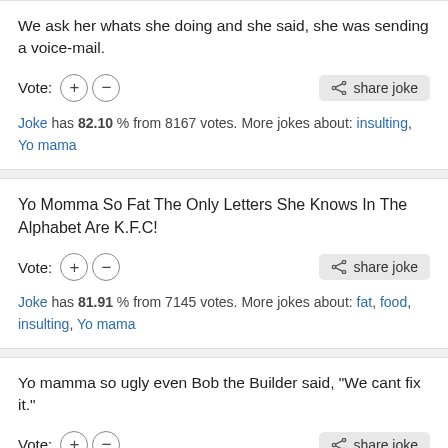We ask her whats she doing and she said, she was sending a voice-mail.
Vote: [+] [-]  share joke
Joke has 82.10 % from 8167 votes. More jokes about: insulting, Yo mama
Yo Momma So Fat The Only Letters She Knows In The Alphabet Are K.F.C!
Vote: [+] [-]  share joke
Joke has 81.91 % from 7145 votes. More jokes about: fat, food, insulting, Yo mama
Yo mamma so ugly even Bob the Builder said, "We cant fix it."
Vote: [+] [-]  share joke